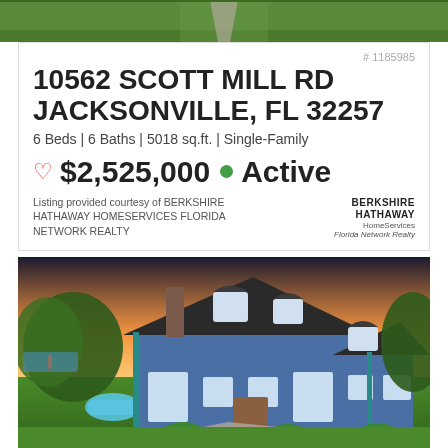[Figure (photo): Aerial/top-down view of green lawn with a driveway path]
# 1185985
10562 SCOTT MILL RD
JACKSONVILLE, FL 32257
6 Beds | 6 Baths | 5018 sq.ft. | Single-Family
♡ $2,525,000 ● Active
Listing provided courtesy of BERKSHIRE HATHAWAY HOMESERVICES FLORIDA NETWORK REALTY
[Figure (logo): Berkshire Hathaway HomeServices Florida Network Realty logo]
[Figure (photo): Exterior photo of a large blue single-family home at sunset with pool visible on the left, lush green landscaping, and a curved driveway]